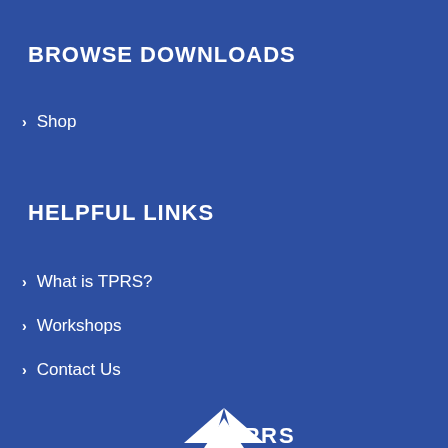BROWSE DOWNLOADS
Shop
HELPFUL LINKS
What is TPRS?
Workshops
Contact Us
[Figure (logo): TPRS logo in white at bottom center of the page, partially visible]